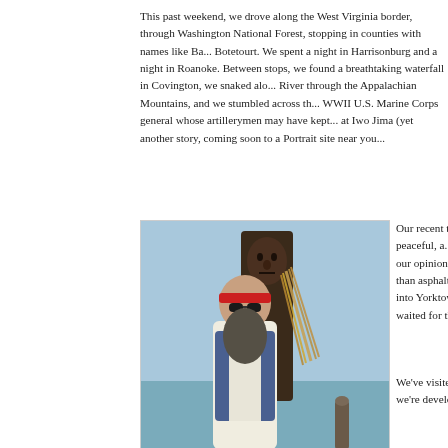This past weekend, we drove along the West Virginia border, through Washington National Forest, stopping in counties with names like Ba... Botetourt. We spent a night in Harrisonburg and a night in Roanoke. Between stops, we found a breathtaking waterfall in Covington, we snaked along the River through the Appalachian Mountains, and we stumbled across the home of a WWII U.S. Marine Corps general whose artillerymen may have kept the Japanese at Iwo Jima (yet another story, coming soon to a Portrait site near you...
[Figure (photo): Two wooden carved folk art figures standing outdoors near water. The taller figure in the back is a dark weathered carving holding what appears to be straw or reeds. The shorter figure in front wears a red headband and has a long beard, dressed in a blue vest.]
Our recent trip has left me... many historical, peaceful, ... we've seen in the past year... our opinion of Virginia is c... lot more here than asphalt ... We've watched the Serenity... into Yorktown, admired the... Beach, and waited for the s... Shenandoahs.
We've visited so many mo... markers that we're develop... and appreciation for Amer...